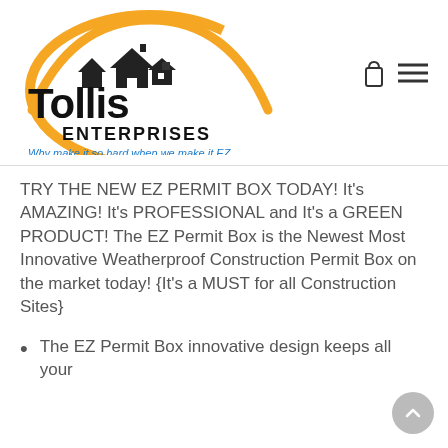[Figure (logo): Tollis Enterprises logo with orange arc, house silhouette, and tagline 'Why make it so hard when we make it EZ']
TRY THE NEW EZ PERMIT BOX TODAY! It's AMAZING! It's PROFESSIONAL and It's a GREEN PRODUCT! The EZ Permit Box is the Newest Most Innovative Weatherproof Construction Permit Box on the market today! {It's a MUST for all Construction Sites}
The EZ Permit Box innovative design keeps all your